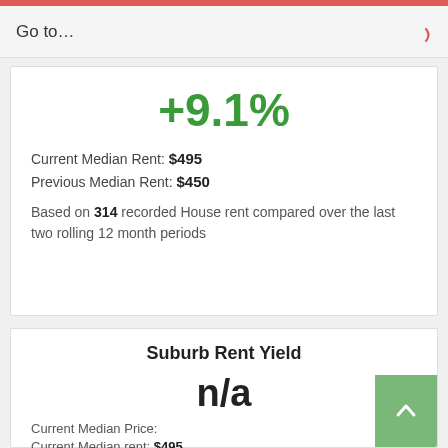Go to…
+9.1%
Current Median Rent: $495
Previous Median Rent: $450
Based on 314 recorded House rent compared over the last two rolling 12 month periods
Suburb Rent Yield
n/a
Current Median Price:
Current Median rent: $495